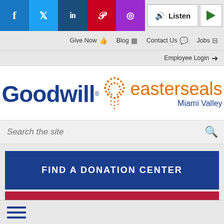Social links: Facebook, Twitter, LinkedIn, Pinterest, Instagram | Listen | Play
Give Now | Blog | Contact Us | Jobs
Employee Login
[Figure (logo): Goodwill Easterseals Miami Valley logo — 'Goodwill' in dark blue bold text, orange dot pattern, 'easterseals' in orange, 'Miami Valley' in dark blue]
Search the site
FIND A DONATION CENTER
CONTRIBUTE NOW!